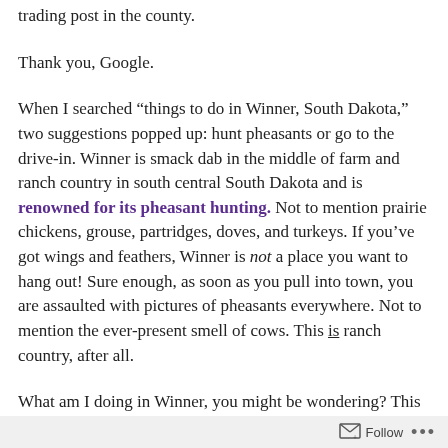trading post in the county.
Thank you, Google.
When I searched “things to do in Winner, South Dakota,” two suggestions popped up: hunt pheasants or go to the drive-in. Winner is smack dab in the middle of farm and ranch country in south central South Dakota and is renowned for its pheasant hunting. Not to mention prairie chickens, grouse, partridges, doves, and turkeys. If you’ve got wings and feathers, Winner is not a place you want to hang out! Sure enough, as soon as you pull into town, you are assaulted with pictures of pheasants everywhere. Not to mention the ever-present smell of cows. This is ranch country, after all.
What am I doing in Winner, you might be wondering? This is the first leg of a business trip. I’m traveling clear across
Follow •••